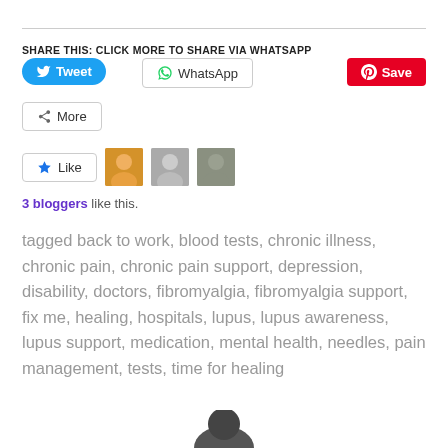SHARE THIS: CLICK MORE TO SHARE VIA WHATSAPP
[Figure (screenshot): Social share buttons: Tweet (Twitter blue), WhatsApp (outlined), Save (Pinterest red), More (outlined)]
[Figure (screenshot): Like button with star icon and 3 blogger avatar thumbnails]
3 bloggers like this.
tagged back to work, blood tests, chronic illness, chronic pain, chronic pain support, depression, disability, doctors, fibromyalgia, fibromyalgia support, fix me, healing, hospitals, lupus, lupus awareness, lupus support, medication, mental health, needles, pain management, tests, time for healing
[Figure (photo): Top of a person's head/hair visible at the bottom of the page]